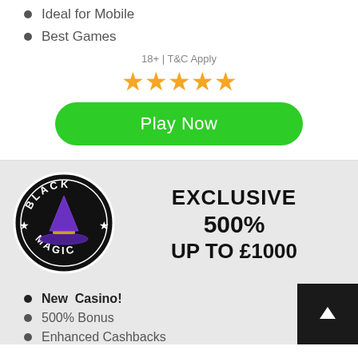Ideal for Mobile
Best Games
18+ | T&C Apply
[Figure (infographic): Five gold star rating]
Play Now
[Figure (logo): Black Magic casino circular logo with witch hat]
EXCLUSIVE 500% UP TO £1000
New Casino!
500% Bonus
Enhanced Cashbacks